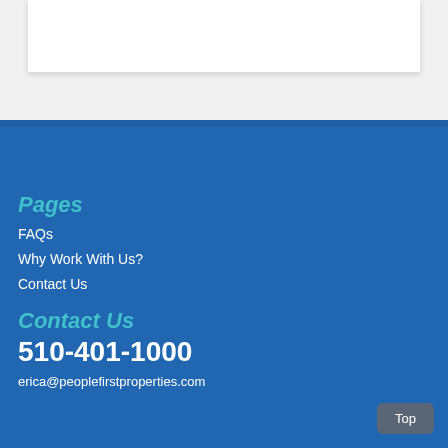[Figure (other): White card/panel at top on light gray background]
Pages
FAQs
Why Work With Us?
Contact Us
Contact Us
510-401-1000
erica@peoplefirstproperties.com
Top